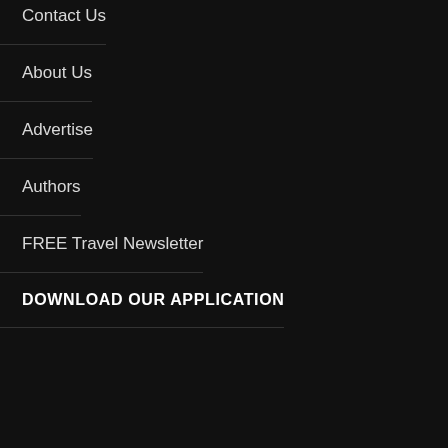Contact Us
About Us
Advertise
Authors
FREE Travel Newsletter
DOWNLOAD OUR APPLICATION